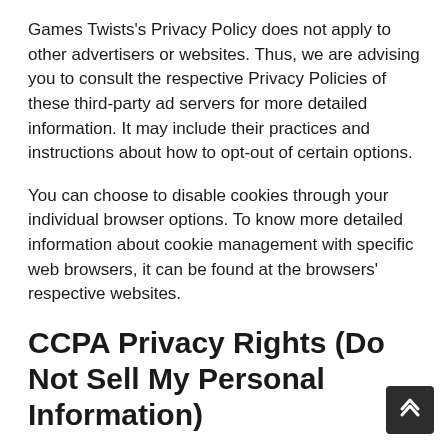Games Twists's Privacy Policy does not apply to other advertisers or websites. Thus, we are advising you to consult the respective Privacy Policies of these third-party ad servers for more detailed information. It may include their practices and instructions about how to opt-out of certain options.
You can choose to disable cookies through your individual browser options. To know more detailed information about cookie management with specific web browsers, it can be found at the browsers' respective websites.
CCPA Privacy Rights (Do Not Sell My Personal Information)
Under the CCPA, among other rights, California consumers have the right to: